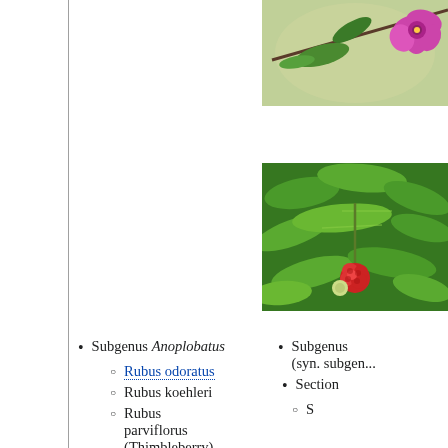[Figure (photo): Photo of a pink/magenta flower (Rubus odoratus type) with green leaves on a branch, blurred background]
[Figure (photo): Photo of green palmate leaves with a red raspberry/thimbleberry fruit hanging, green foliage background]
Subgenus Anoplobatus
Rubus odoratus
Rubus koehleri
Rubus parviflorus (Thimbleberry)
Subgenus (syn. subgen...
Section
S